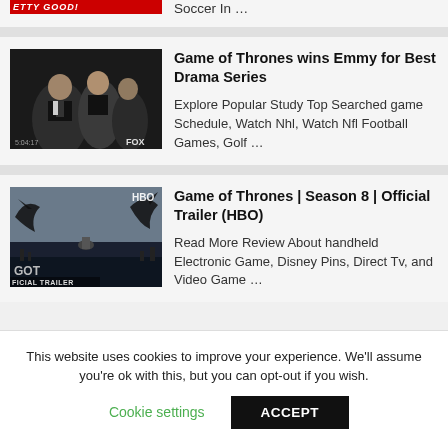Soccer In …
[Figure (photo): Game of Thrones Emmy award acceptance speech, people in suits on stage, FOX broadcast watermark]
Game of Thrones wins Emmy for Best Drama Series
Explore Popular Study Top Searched game Schedule, Watch Nhl, Watch Nfl Football Games, Golf …
[Figure (photo): Game of Thrones Season 8 trailer image with dragons, GOT logo and OFFICIAL TRAILER text, HBO watermark]
Game of Thrones | Season 8 | Official Trailer (HBO)
Read More Review About handheld Electronic Game, Disney Pins, Direct Tv, and Video Game …
This website uses cookies to improve your experience. We'll assume you're ok with this, but you can opt-out if you wish.
Cookie settings
ACCEPT